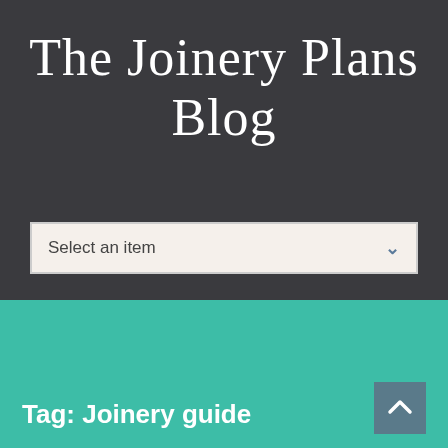The Joinery Plans Blog
Select an item
Tag: Joinery guide